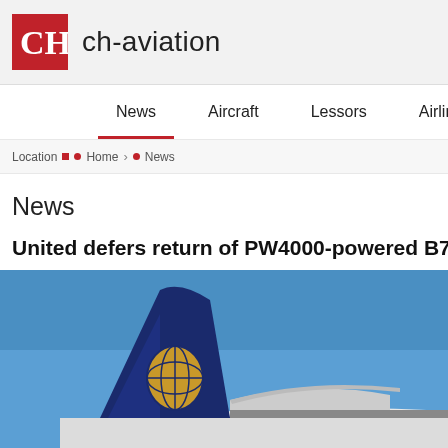ch-aviation
News  Aircraft  Lessors  Airlines
Location  Home > News
News
United defers return of PW4000-powered B777s
[Figure (photo): United Airlines Boeing 777 tail section with globe logo against blue sky]